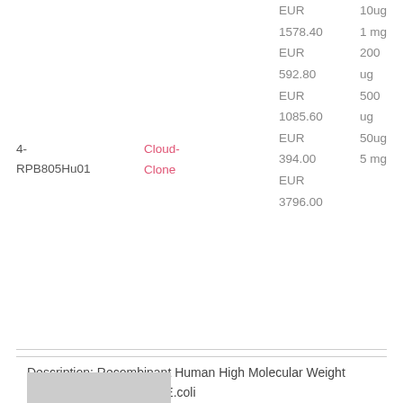| ID | Vendor | Price | Quantity |
| --- | --- | --- | --- |
|  |  | EUR | 10ug |
|  |  | 1578.40 | 1 mg |
| 4-RPB805Hu01 | Cloud-Clone | EUR | 200 |
|  |  | 592.80 | ug |
|  |  | EUR | 500 |
|  |  | 1085.60 | ug |
|  |  | EUR | 50ug |
|  |  | 394.00 | 5 mg |
|  |  | EUR |  |
|  |  | 3796.00 |  |
Description: Recombinant Human High Molecular Weight Kininogen expressed in: E.coli
[Figure (photo): Thumbnail image placeholder]